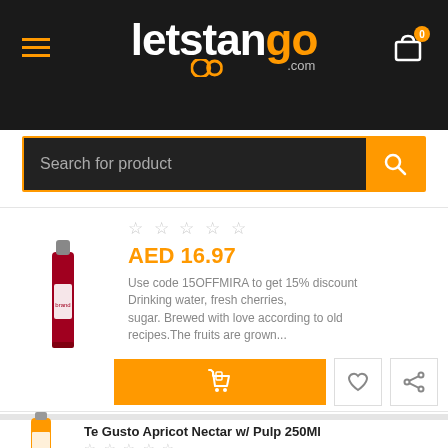[Figure (logo): letstango.com logo in white and orange on dark background]
Search for product
[Figure (photo): Red juice/drink bottle product image]
☆☆☆☆☆
AED 16.97
Use code 15OFFMIRA to get 15% discount Drinking water, fresh cherries, sugar. Brewed with love according to old recipes.The fruits are grown...
[Figure (photo): Orange/apricot juice bottle product image]
Te Gusto Apricot Nectar w/ Pulp 250Ml
☆☆☆☆☆
AED 7.95